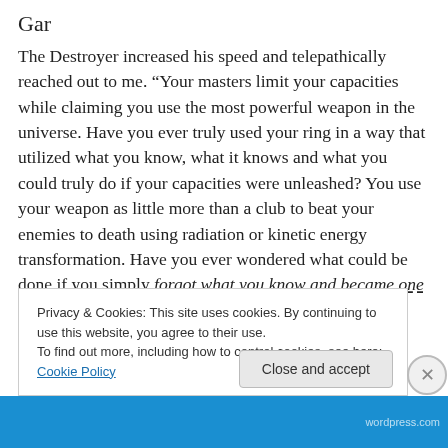The Destroyer increased his speed and telepathically reached out to me. “Your masters limit your capacities while claiming you use the most powerful weapon in the universe. Have you ever truly used your ring in a way that utilized what you know, what it knows and what you could truly do if your capacities were unleashed? You use your weapon as little more than a club to beat your enemies to death using radiation or kinetic energy transformation. Have you ever wondered what could be done if you simply forgot what you know and became one with the power
Privacy & Cookies: This site uses cookies. By continuing to use this website, you agree to their use.
To find out more, including how to control cookies, see here: Cookie Policy
Close and accept